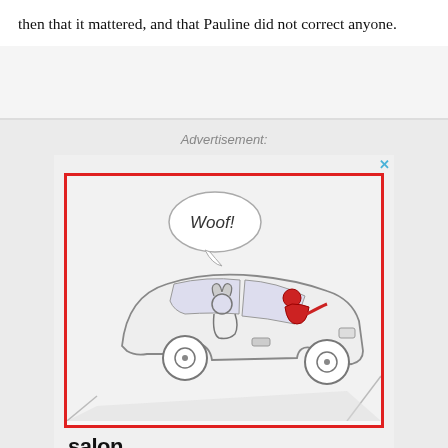then that it mattered, and that Pauline did not correct anyone.
Advertisement:
[Figure (illustration): Cartoon advertisement for Salon showing a dog in the back seat of a car with a speech bubble saying 'WOOF!' and a person in red driving. The image is inside a red border rectangle. Below the image is the word 'salon' in bold black text.]